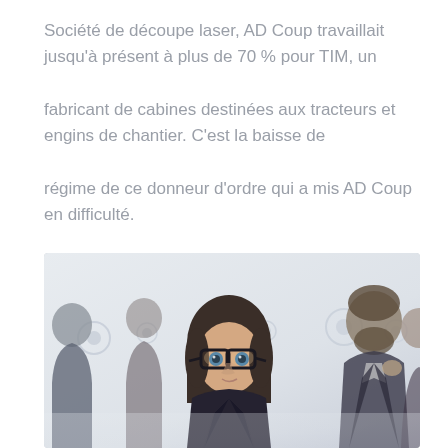Société de découpe laser, AD Coup travaillait jusqu'à présent à plus de 70 % pour TIM, un fabricant de cabines destinées aux tracteurs et engins de chantier. C'est la baisse de régime de ce donneur d'ordre qui a mis AD Coup en difficulté.
[Figure (photo): A woman with glasses looking at the camera in a business meeting setting, with other people blurred in the background. Small circular bokeh shapes visible in the background.]